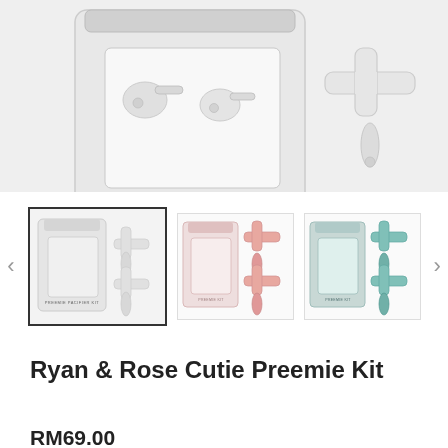[Figure (photo): Product page showing Ryan & Rose Cutie Preemie Kit. Top half shows main product image: on the left a white translucent zip bag labeled 'PREEMIE PACIFIER KIT / TWO STAGES INCLUDED' containing pacifiers, and on the right a single white cross-shaped pacifier labeled 'CUTIE PREEMIE STAGE 1'. Below is a thumbnail strip with navigation arrows showing three color variants of the kit (clear/white, pink/rose, and teal/mint).]
Ryan & Rose Cutie Preemie Kit
RM69.00